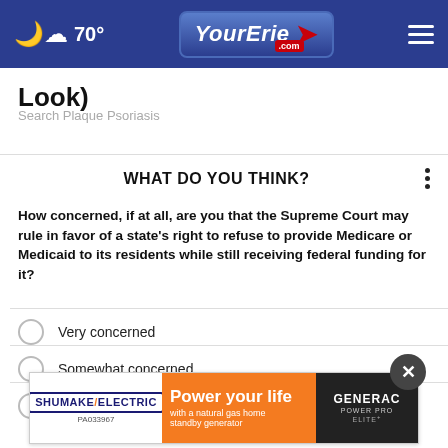70° YourErie.com
Look)
Search Plaque Psoriasis
WHAT DO YOU THINK?
How concerned, if at all, are you that the Supreme Court may rule in favor of a state's right to refuse to provide Medicare or Medicaid to its residents while still receiving federal funding for it?
Very concerned
Somewhat concerned
Not at all concerned
O
[Figure (screenshot): Advertisement banner: Shumake Electric / Power your life with a natural gas home standby generator / Generac Power Pro Elite]